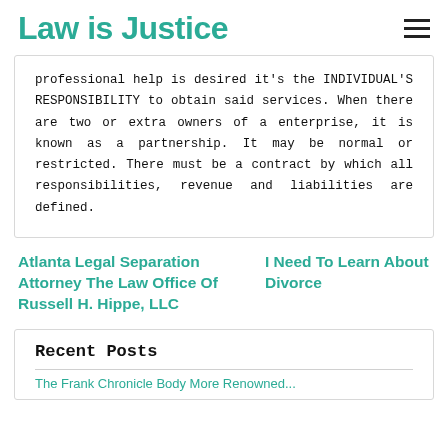Law is Justice
professional help is desired it's the INDIVIDUAL'S RESPONSIBILITY to obtain said services. When there are two or extra owners of a enterprise, it is known as a partnership. It may be normal or restricted. There must be a contract by which all responsibilities, revenue and liabilities are defined.
Atlanta Legal Separation Attorney The Law Office Of Russell H. Hippe, LLC
I Need To Learn About Divorce
Recent Posts
The Frank Chronicle Body More Renowned...